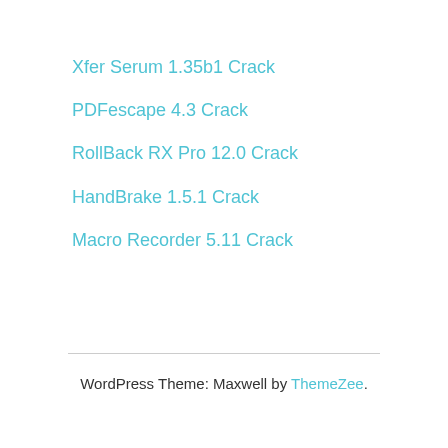Xfer Serum 1.35b1 Crack
PDFescape 4.3 Crack
RollBack RX Pro 12.0 Crack
HandBrake 1.5.1 Crack
Macro Recorder 5.11 Crack
WordPress Theme: Maxwell by ThemeZee.